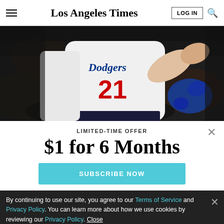Los Angeles Times
[Figure (photo): A Dodgers baseball pitcher wearing jersey number 21 in a white Dodgers uniform, mid-pitching motion holding a blue glove, against a dark blurred stadium background]
LIMITED-TIME OFFER
$1 for 6 Months
SUBSCRIBE NOW
By continuing to use our site, you agree to our Terms of Service and Privacy Policy. You can learn more about how we use cookies by reviewing our Privacy Policy. Close